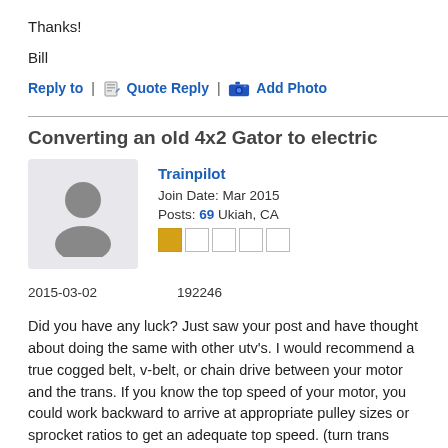Thanks!
Bill
Reply to | Quote Reply | Add Photo
Converting an old 4x2 Gator to electric
Trainpilot
Join Date: Mar 2015
Posts: 69 Ukiah, CA
2015-03-02    192246
Did you have any luck? Just saw your post and have thought about doing the same with other utv's. I would recommend a true cogged belt, v-belt, or chain drive between your motor and the trans. If you know the top speed of your motor, you could work backward to arrive at appropriate pulley sizes or sprocket ratios to get an adequate top speed. (turn trans input shaft and count revs of the shaft to revs of